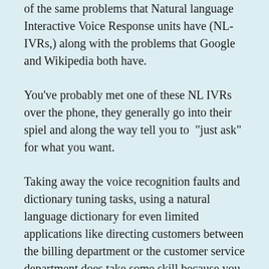of the same problems that Natural language Interactive Voice Response units have (NL-IVRs,) along with the problems that Google and Wikipedia both have.
You've probably met one of these NL IVRs over the phone, they generally go into their spiel and along the way tell you to  "just ask" for what you want.
Taking away the voice recognition faults and dictionary tuning tasks, using a natural language dictionary for even limited applications like directing customers between the billing department or the customer service department does take some skill because you